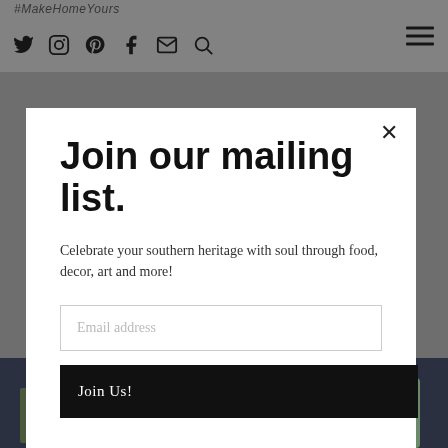#MakeHomeYours
[Figure (screenshot): Social media icons: Twitter, Instagram, Pinterest, Facebook, Email, Search. Hamburger menu icon on right.]
Join our mailing list.
Celebrate your southern heritage with soul through food, decor, art and more!
[Figure (screenshot): Email address input field]
Join Us!
[Figure (photo): Bottom portion of page showing home decor items on a dark blue background, partially hidden behind the modal.]